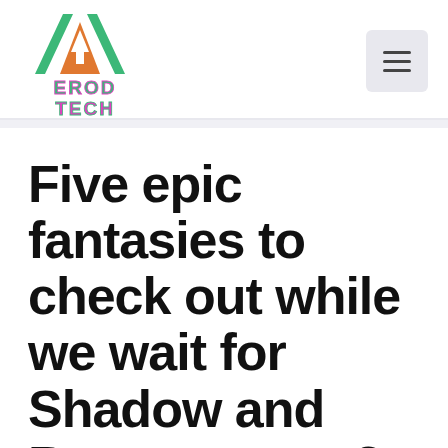[Figure (logo): ErodTech logo: a green and orange mountain/arrow triangle with green and pink 'EROD TECH' text below]
Five epic fantasies to check out while we wait for Shadow and Bone season 2